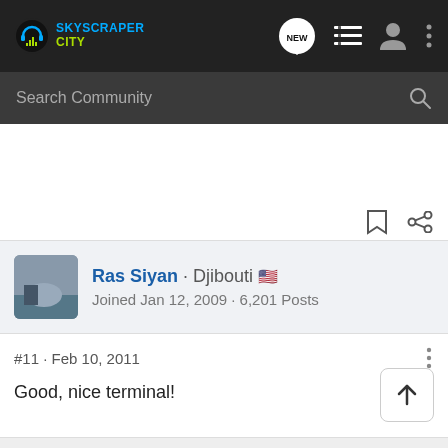SkyscraperCity
Search Community
Ras Siyan · Djibouti 🇺🇸
Joined Jan 12, 2009 · 6,201 Posts
#11 · Feb 10, 2011
Good, nice terminal!